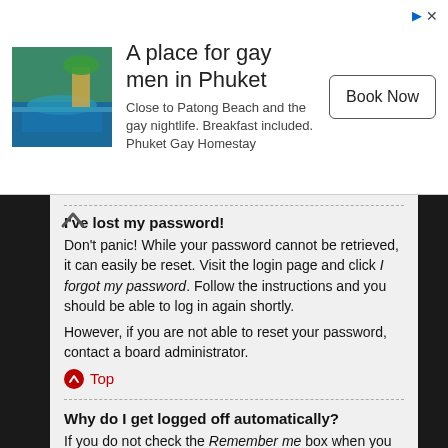[Figure (infographic): Advertisement banner: A place for gay men in Phuket. Image of a blue pool/beach scene on the left. Text: Close to Patong Beach and the gay nightlife. Breakfast included. Phuket Gay Homestay. Book Now button on the right. Small icons top right.]
I've lost my password!
Don't panic! While your password cannot be retrieved, it can easily be reset. Visit the login page and click I forgot my password. Follow the instructions and you should be able to log in again shortly.
However, if you are not able to reset your password, contact a board administrator.
Top
Why do I get logged off automatically?
If you do not check the Remember me box when you login, the board will only keep you logged in for a preset time. This prevents misuse of your account by anyone else. To stay logged in, check the Remember me box during login. This is not recommended if you access the board from a shared computer, e.g. library, internet cafe, university computer lab, etc. If you do not see this checkbox, it means a board administrator has disabled this feature.